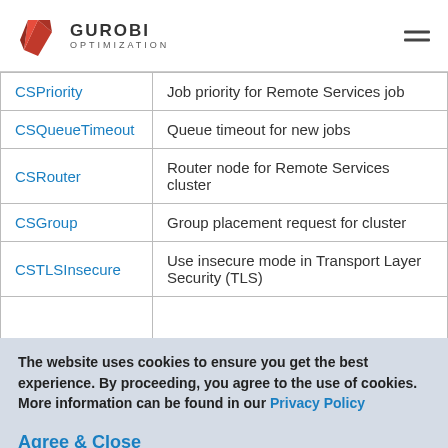Gurobi Optimization
| Parameter | Description |
| --- | --- |
| CSPriority | Job priority for Remote Services job |
| CSQueueTimeout | Queue timeout for new jobs |
| CSRouter | Router node for Remote Services cluster |
| CSGroup | Group placement request for cluster |
| CSTLSInsecure | Use insecure mode in Transport Layer Security (TLS) |
The website uses cookies to ensure you get the best experience. By proceeding, you agree to the use of cookies. More information can be found in our Privacy Policy
Agree & Close